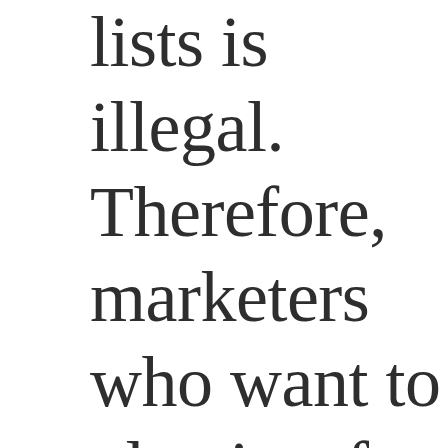lists is illegal. Therefore, marketers who want to play it safe should ask